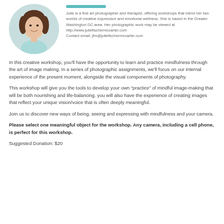[Figure (photo): Circular headshot of Julie, a woman with dark hair, smiling, wearing a light blue top.]
Julie is a fine art photographer and therapist, offering workshops that blend her two worlds of creative expression and emotional wellness. She is based in the Greater Washington DC area. Her photographic work may be viewed at http://www.juliefischermccarter.com Contact email: jfm@juliefischermccarter.com
In this creative workshop, you'll have the opportunity to learn and practice mindfulness through the art of image making. In a series of photographic assignments, we'll focus on our internal experience of the present moment, alongside the visual components of photography.
This workshop will give you the tools to develop your own “practice” of mindful image-making that will be both nourishing and life-balancing. you will also have the experience of creating images that reflect your unique vision/voice that is often deeply meaningful.
Join us to discover new ways of being, seeing and expressing with mindfulness and your camera.
Please select one meaningful object for the workshop. Any camera, including a cell phone, is perfect for this workshop.
Suggested Donation: $20